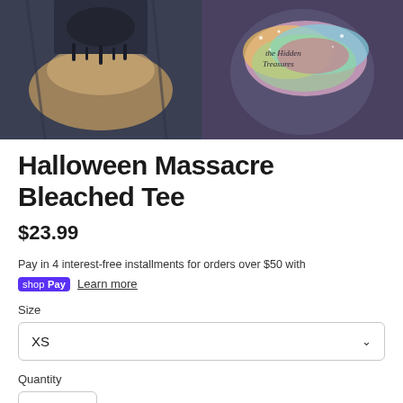[Figure (photo): Product images: left side shows a dark bleached Halloween tee shirt close-up, right side shows a colorful watercolor logo reading 'The Hidden Treasures']
Halloween Massacre Bleached Tee
$23.99
Pay in 4 interest-free installments for orders over $50 with
shop Pay  Learn more
Size
XS
Quantity